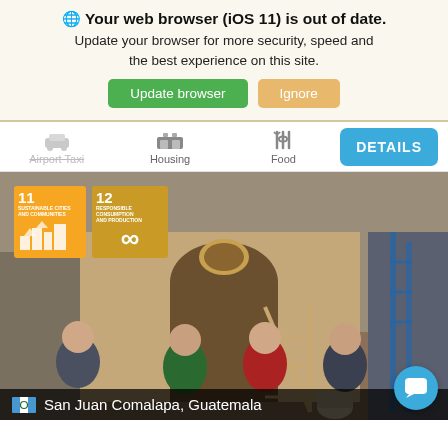🌐 Your web browser (iOS 11) is out of date. Update your browser for more security, speed and the best experience on this site.
Update browser | Ignore
Airport Taxi  Housing  Food  DETAILS
[Figure (photo): Four people standing together and smiling in front of an adobe/clay building with an arched doorway. SDG badges 11 (Sustainable Cities and Communities) and 12 (Responsible Consumption and Production) visible in upper left. Location label reads: San Juan Comalapa, Guatemala.]